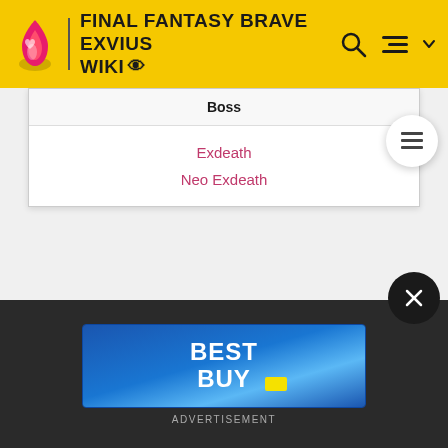FINAL FANTASY BRAVE EXVIUS WIKI
| Boss |
| --- |
| Exdeath |
| Neo Exdeath |
[Figure (screenshot): Best Buy advertisement banner with blue gradient background and white bold text reading BEST BUY]
ADVERTISEMENT